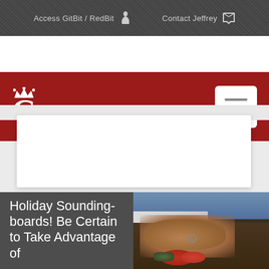Access GitBit / RedBit   Contact Jeffrey
[Figure (logo): Red background header bar with white crowned G logo on left and white hamburger menu button on right]
[Figure (photo): Close-up photo of hands handling vegetables/food items]
Holiday Soundingboards! Be Certain to Take Advantage of